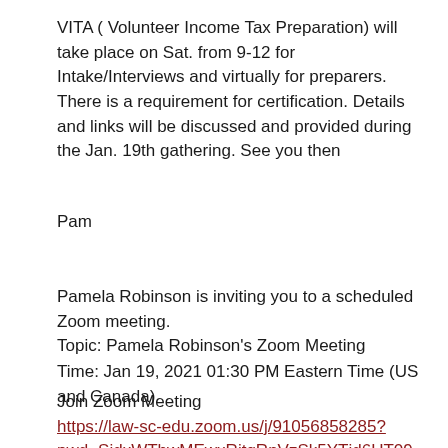VITA ( Volunteer Income Tax Preparation) will take place on Sat. from 9-12 for Intake/Interviews and virtually for preparers. There is a requirement for certification. Details and links will be discussed and provided during the Jan. 19th gathering. See you then
Pam
Pamela Robinson is inviting you to a scheduled Zoom meeting.
Topic: Pamela Robinson's Zoom Meeting
Time: Jan 19, 2021 01:30 PM Eastern Time (US and Canada)
Join Zoom Meeting
https://law-sc-edu.zoom.us/j/91056858285?pwd=SjdxWThwMEwxRitqRnVzSk5YTjd6UT09